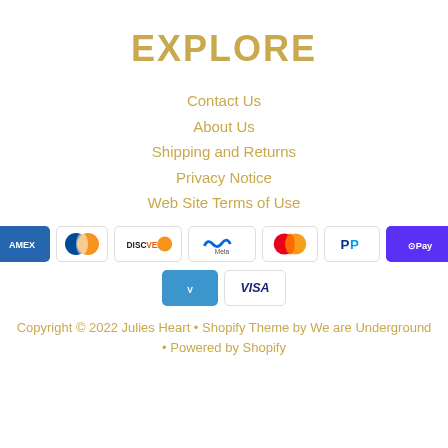EXPLORE
Contact Us
About Us
Shipping and Returns
Privacy Notice
Web Site Terms of Use
[Figure (other): Payment method icons: American Express, Diners Club, Discover, Meta Pay, Mastercard, PayPal, Shop Pay, Venmo, Visa]
Copyright © 2022 Julies Heart • Shopify Theme by We are Underground • Powered by Shopify